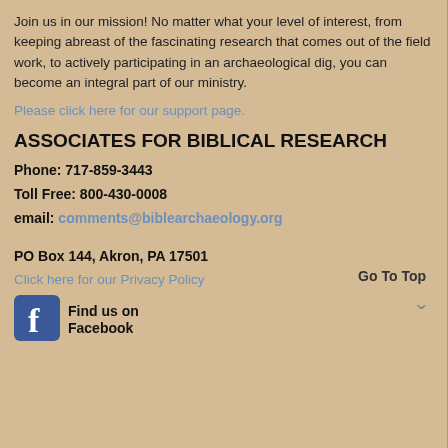Join us in our mission! No matter what your level of interest, from keeping abreast of the fascinating research that comes out of the field work, to actively participating in an archaeological dig, you can become an integral part of our ministry.
Please click here for our support page.
ASSOCIATES FOR BIBLICAL RESEARCH
Phone: 717-859-3443
Toll Free:  800-430-0008
email: comments@biblearchaeology.org
Go To Top
PO Box 144, Akron, PA 17501
Click here for our Privacy Policy
[Figure (logo): Facebook logo icon (blue square with white F)]
Find us on Facebook